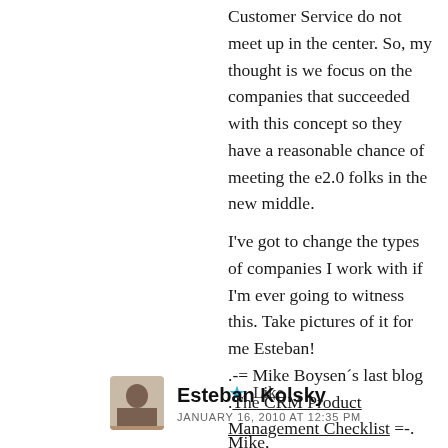Customer Service do not meet up in the center. So, my thought is we focus on the companies that succeeded with this concept so they have a reasonable chance of meeting the e2.0 folks in the new middle.

I've got to change the types of companies I work with if I'm ever going to witness this. Take pictures of it for me Esteban!
.-= Mike Boysen´s last blog .The CRM Product Management Checklist =-.
Like
Esteban Kolsky
JANUARY 16, 2010 AT 12:35 PM
Mike,